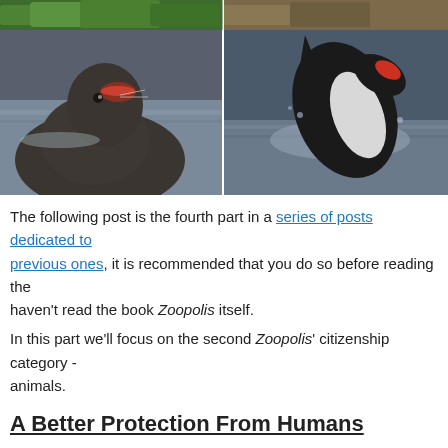[Figure (photo): Top row: two animal photos partially visible at top — green foliage/plant on left, brown/tan animal (possibly a big cat or similar) on right]
[Figure (photo): Bottom row: left photo shows a sea lion/fur seal with open mouth near ocean water; right photo shows an orca (killer whale) breaching from water with open mouth]
The following post is the fourth part in a series of posts dedicated to... previous ones, it is recommended that you do so before reading the... haven't read the book Zoopolis itself.
In this part we'll focus on the second Zoopolis' citizenship category -... animals.
A Better Protection From Humans
Donaldson and Kymlicka argue that as opposed to domesticated an... as full citizens of human communities due to their dependency, "wild... citizens of their own sovereign communities, whose relations to sove... be regulated by norms of international justice. That according to the...